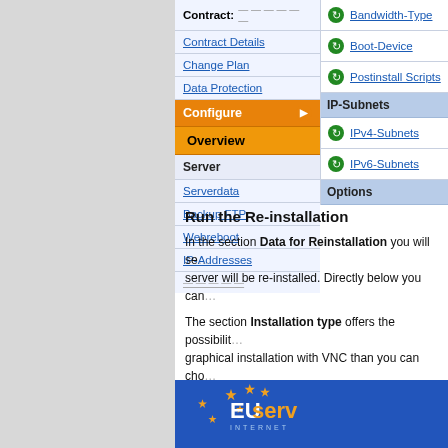[Figure (screenshot): Navigation menu screenshot showing Contract, Contract Details, Change Plan, Data Protection, Configure (orange active), Overview (orange highlighted), Server section with Serverdata, Backup FTP, Webreboot, IP-Addresses items]
[Figure (screenshot): Right panel showing Bandwidth-Type, Boot-Device, Postinstall Scripts links with green arrow icons, IP-Subnets section header, IPv4-Subnets, IPv6-Subnets links, Options section header]
Run the Re-installation
In the section Data for Reinstallation you will see... server will be re-installed. Directly below you can...
The section Installation type offers the possibilit... graphical installation with VNC than you can cho...
Below, you have the opportunity to choose from a...
[Figure (logo): EUserv Internet logo on blue background with orange stars]